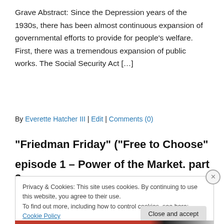Grave Abstract: Since the Depression years of the 1930s, there has been almost continuous expansion of governmental efforts to provide for people's welfare. First, there was a tremendous expansion of public works. The Social Security Act […]
By Everette Hatcher III | Edit | Comments (0)
“Friedman Friday” (“Free to Choose” episode 1 – Power of the Market. part 3
Privacy & Cookies: This site uses cookies. By continuing to use this website, you agree to their use.
To find out more, including how to control cookies, see here: Cookie Policy